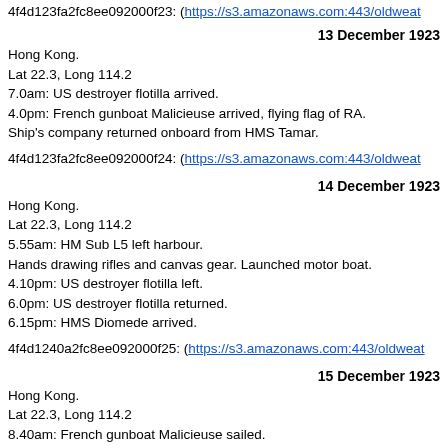4f4d123fa2fc8ee092000f23: (https://s3.amazonaws.com:443/oldweat...
13 December 1923
Hong Kong.
Lat 22.3, Long 114.2
7.0am: US destroyer flotilla arrived.
4.0pm: French gunboat Malicieuse arrived, flying flag of RA.
Ship's company returned onboard from HMS Tamar.
4f4d123fa2fc8ee092000f24: (https://s3.amazonaws.com:443/oldweat...
14 December 1923
Hong Kong.
Lat 22.3, Long 114.2
5.55am: HM Sub L5 left harbour.
Hands drawing rifles and canvas gear. Launched motor boat.
4.10pm: US destroyer flotilla left.
6.0pm: US destroyer flotilla returned.
6.15pm: HMS Diomede arrived.
4f4d1240a2fc8ee092000f25: (https://s3.amazonaws.com:443/oldweat...
15 December 1923
Hong Kong.
Lat 22.3, Long 114.2
8.40am: French gunboat Malicieuse sailed.
One AB returned from hospital.
2.0pm: HMS Bluebell sailed.
HMS Bluebell, with American, French, Portuguese, Japanese and Itali...
safeguard their countries' interests at a time of tension and local fighti...